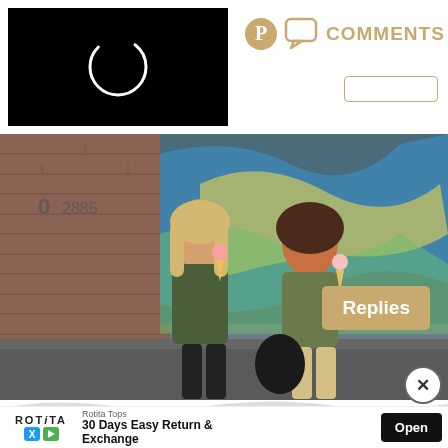[Figure (screenshot): Black video thumbnail with a white circular loading spinner icon]
COMMENTS
[Figure (photo): Two young women eating ice cream cones in front of a graffiti wall, wearing casual street fashion]
Replies
[Figure (other): Close X button circle]
Rotita Tops
30 Days Easy Return & Exchange
Open